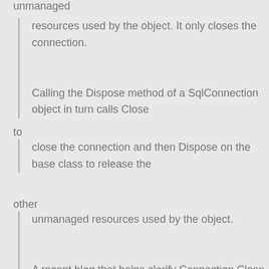unmanaged
resources used by the object. It only closes the connection.
Calling the Dispose method of a SqlConnection object in turn calls Close
to
close the connection and then Dispose on the base class to release the
other
unmanaged resources used by the object.
A recent blog that helps clarify Connection Close